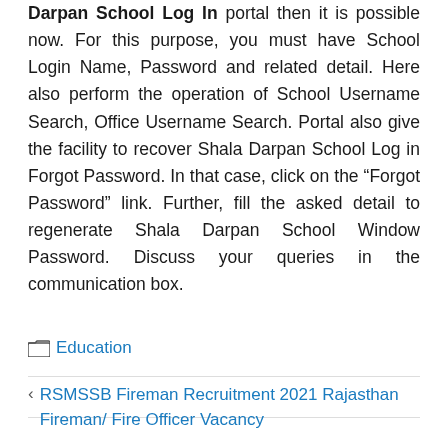Darpan School Log In portal then it is possible now. For this purpose, you must have School Login Name, Password and related detail. Here also perform the operation of School Username Search, Office Username Search. Portal also give the facility to recover Shala Darpan School Log in Forgot Password. In that case, click on the “Forgot Password” link. Further, fill the asked detail to regenerate Shala Darpan School Window Password. Discuss your queries in the communication box.
Education
RSMSSB Fireman Recruitment 2021 Rajasthan Fireman/ Fire Officer Vacancy Notification